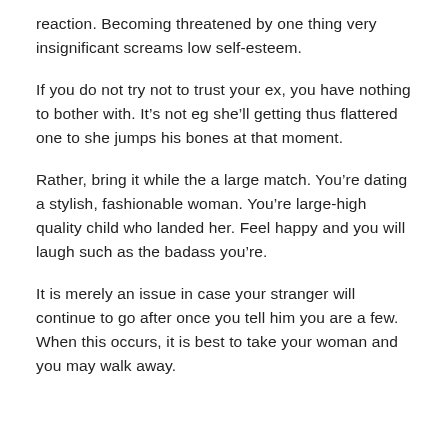reaction. Becoming threatened by one thing very insignificant screams low self-esteem.
If you do not try not to trust your ex, you have nothing to bother with. It’s not eg she’ll getting thus flattered one to she jumps his bones at that moment.
Rather, bring it while the a large match. You’re dating a stylish, fashionable woman. You’re large-high quality child who landed her. Feel happy and you will laugh such as the badass you’re.
It is merely an issue in case your stranger will continue to go after once you tell him you are a few. When this occurs, it is best to take your woman and you may walk away.